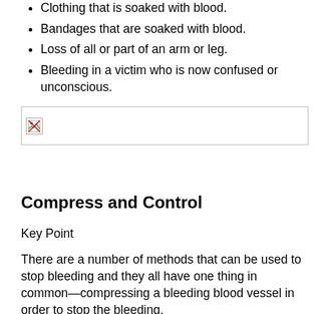Clothing that is soaked with blood.
Bandages that are soaked with blood.
Loss of all or part of an arm or leg.
Bleeding in a victim who is now confused or unconscious.
[Figure (photo): Image placeholder with broken image icon inside a bordered box]
Compress and Control
Key Point
There are a number of methods that can be used to stop bleeding and they all have one thing in common—compressing a bleeding blood vessel in order to stop the bleeding.